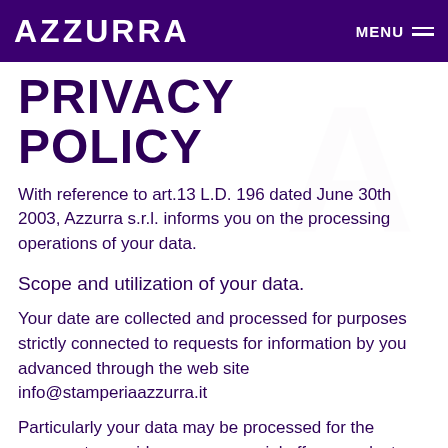AZZURRA   MENU
PRIVACY POLICY
With reference to art.13 L.D. 196 dated June 30th 2003, Azzurra s.r.l. informs you on the processing operations of your data.
Scope and utilization of your data.
Your date are collected and processed for purposes strictly connected to requests for information by you advanced through the web site info@stamperiaazzurra.it
Particularly your data may be processed for the purpose to provide you commercial offers, products or services that the of